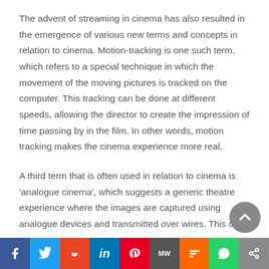The advent of streaming in cinema has also resulted in the emergence of various new terms and concepts in relation to cinema. Motion-tracking is one such term, which refers to a special technique in which the movement of the moving pictures is tracked on the computer. This tracking can be done at different speeds, allowing the director to create the impression of time passing by in the film. In other words, motion tracking makes the cinema experience more real.
A third term that is often used in relation to cinema is 'analogue cinema', which suggests a generic theatre experience where the images are captured using analogue devices and transmitted over wires. This does